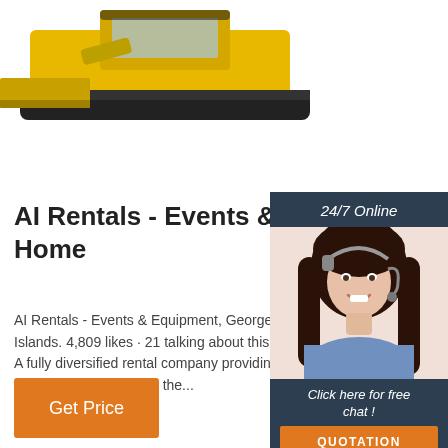[Figure (photo): Yellow construction equipment / loader machine viewed from the front-left, partially cropped at the top of the page]
[Figure (photo): 24/7 Online chat widget panel showing a smiling woman with a headset, a 'Click here for free chat!' message, and a QUOTATION button, all on a dark navy background]
AI Rentals - Events & Equipment Home
AI Rentals - Events & Equipment, George Town, Cayman Islands. 4,809 likes · 21 talking about this · 75 were here. A fully diversified rental company providing event and equipment solutions for the...
Get Price